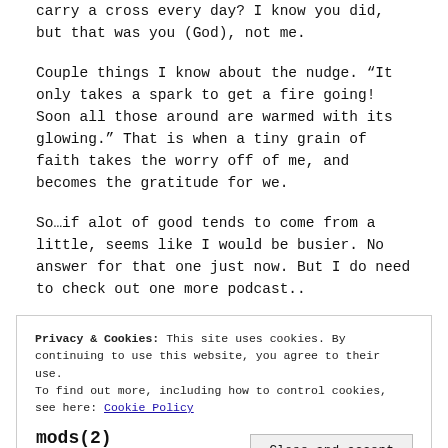carry a cross every day? I know you did, but that was you (God), not me.
Couple things I know about the nudge. “It only takes a spark to get a fire going! Soon all those around are warmed with its glowing.” That is when a tiny grain of faith takes the worry off of me, and becomes the gratitude for we.
So…if alot of good tends to come from a little, seems like I would be busier. No answer for that one just now. But I do need to check out one more podcast..
Privacy & Cookies: This site uses cookies. By continuing to use this website, you agree to their use.
To find out more, including how to control cookies, see here: Cookie Policy
Close and accept
mods(2)